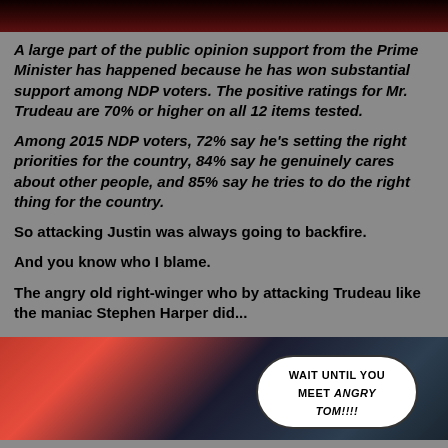[Figure (photo): Top portion of an image showing two people, partially cropped, with dark reddish tones at the top of the page.]
A large part of the public opinion support from the Prime Minister has happened because he has won substantial support among NDP voters. The positive ratings for Mr. Trudeau are 70% or higher on all 12 items tested.
Among 2015 NDP voters, 72% say he's setting the right priorities for the country, 84% say he genuinely cares about other people, and 85% say he tries to do the right thing for the country.
So attacking Justin was always going to backfire.
And you know who I blame.
The angry old right-winger who by attacking Trudeau like the maniac Stephen Harper did...
[Figure (illustration): Comic book style illustration showing a person in a superhero costume with a speech bubble saying 'WAIT UNTIL YOU MEET ANGRY TOM!!!!']